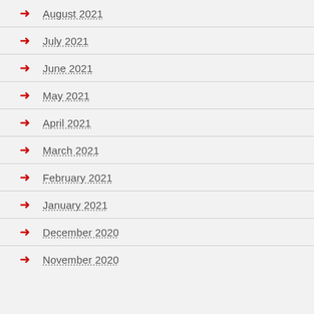August 2021
July 2021
June 2021
May 2021
April 2021
March 2021
February 2021
January 2021
December 2020
November 2020